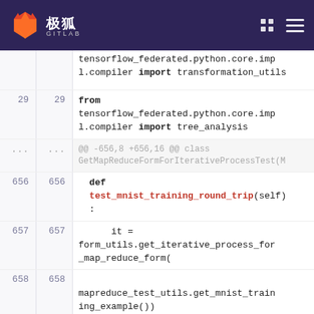[Figure (screenshot): GitLab navbar with fox logo and 极狐 GITLAB text, right-side icons]
tensorflow_federated.python.core.impl.compiler import transformation_utils
29  29  from tensorflow_federated.python.core.impl.compiler import tree_analysis
...  ...  @@ -656,8 +656,16 @@ class GetMapReduceFormForIterativeProcessTest(M
656  656    def test_mnist_training_round_trip(self):
657  657      it = form_utils.get_iterative_process_for_map_reduce_form(
658  658      mapreduce_test_utils.get_mnist_training_example())
659  -    mrf = form_utils.get_map_reduce_form_for_iterative_process(it)